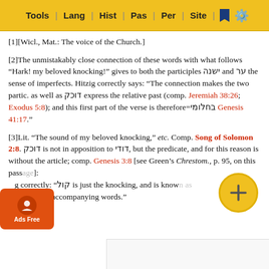Tools | Lang | Hist | Pas | Per | Site
[1][Wicl., Mat.: The voice of the Church.]
[2]The unmistakably close connection of these words with what follows “Hark! my beloved knocking!” gives to both the participles ישנה and ער the sense of imperfects. Hitzig correctly says: “The connection makes the two partic. as well as דוכק express the relative past (comp. Jeremiah 38:26; Exodus 5:8); and this first part of the verse is therefore=בחלומי Genesis 41:17.”
[3]Lit. “The sound of my beloved knocking,” etc. Comp. Song of Solomon 2:8. דוכק is not in apposition to דודי, but the predicate, and for this reason is without the article; comp. Genesis 3:8 [see Green’s Chrestom., p. 95, on this passage]: Hitzig correctly: “קול is just the knocking, and is known as קול by the accompanying words.”
[4][M